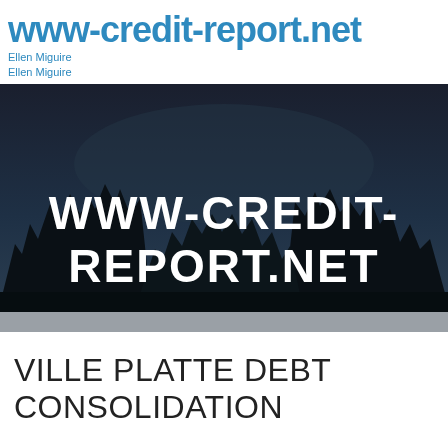www-credit-report.net
Ellen Miguire
Ellen Miguire
[Figure (photo): Dark night sky landscape with silhouetted pine trees at the bottom and bold white text reading WWW-CREDIT-REPORT.NET overlaid in the center. A grey bar appears at the bottom of the image.]
VILLE PLATTE DEBT CONSOLIDATION